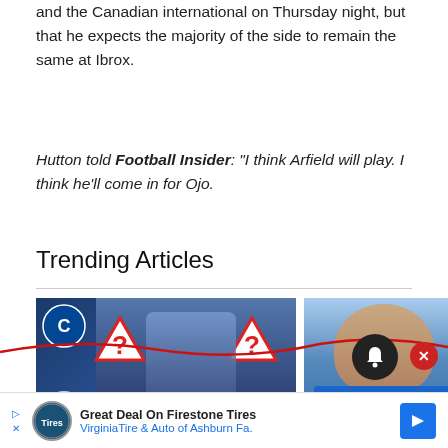and the Canadian international on Thursday night, but that he expects the majority of the side to remain the same at Ibrox.
Hutton told Football Insider: "I think Arfield will play. I think he'll come in for Ojo.
Trending Articles
[Figure (photo): Left: Chelsea and Everton badge composite image with player in Everton kit, two warning triangle signs with question marks, and yellow banner reading £85M EXCLUSIVE!]
[Figure (photo): Right: Player in blue Italy national team kit, close-up portrait]
Great Deal On Firestone Tires  VirginiaTire & Auto of Ashburn Fa.